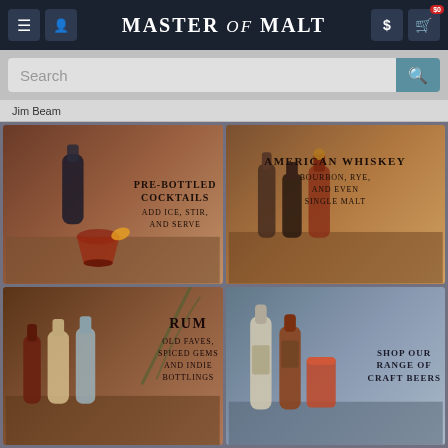Master of Malt — navigation bar with menu, user, logo, dollar and cart icons, $0 badge
Search
Jim Beam
[Figure (photo): PRE-BOTTLED COCKTAILS — ADD ICE, STIR, AND SERVE — product image of cocktail bottle and drink]
[Figure (photo): AMERICAN WHISKEY — BOURBON, RYE, AND EVEN SINGLE MALT — product image of whiskey bottles]
[Figure (photo): RUM — OLD FAVES, SPICED GEMS AND INDIE BOTTLINGS — product image of rum bottles]
[Figure (photo): SHOP OUR RANGE OF CRAFT BEERS — product image of beer bottles]